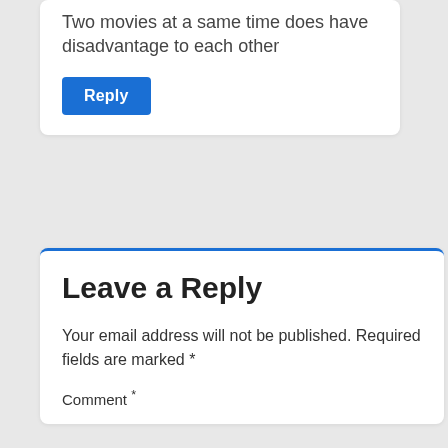Two movies at a same time does have disadvantage to each other
Reply
Leave a Reply
Your email address will not be published. Required fields are marked *
Comment *